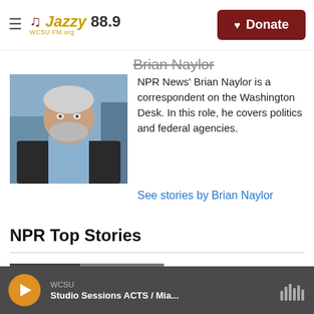Jazzy 88.9 | Donate
Brian Naylor
[Figure (photo): Headshot of Brian Naylor, a middle-aged man with gray beard wearing a dark blazer and light blue shirt]
NPR News' Brian Naylor is a correspondent on the Washington Desk. In this role, he covers politics and federal agencies.
See stories by Brian Naylor
NPR Top Stories
[Figure (photo): Thumbnail image of news story about unsafe water in Jackson]
Unsafe water challenges Jackson,
WCSU Studio Sessions ACTS / Mia...